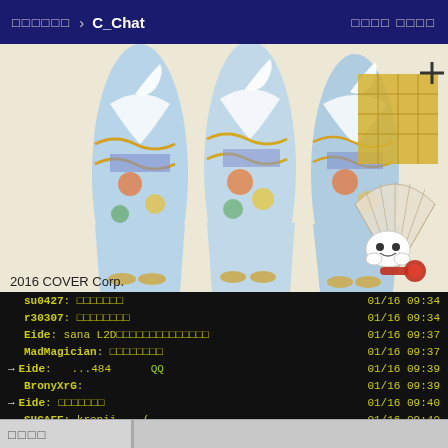□□□□□□ > C_Chat  □□□□ □□□□
[Figure (illustration): Anime-style illustration showing figures in ornate Japanese kimono with floral and crane patterns in blue, gold, orange and white. A decorative fan and small character figure are visible on the right side. Copyright text: 2016 COVER Corp.]
2016 COVER Corp.
su0427: □□□□□□□  01/16 09:34
r30307: □□□□□□□□  01/16 09:34
Eide: sana L2D□□□□□□□□□□□□□□  01/16 09:37
MadMagician: □□□□□□□□  01/16 09:37
→ Eide:   ...484    QQ  01/16 09:39
BronyXrG:   01/16 09:39
→ Eide: □□□□□□□  01/16 09:40
SHCAFE: kronii    (  01/16 09:40
westgatepark: □IRyS    (  01/16 09:41
caka5566:    = =  01/16 09:45
□□□□